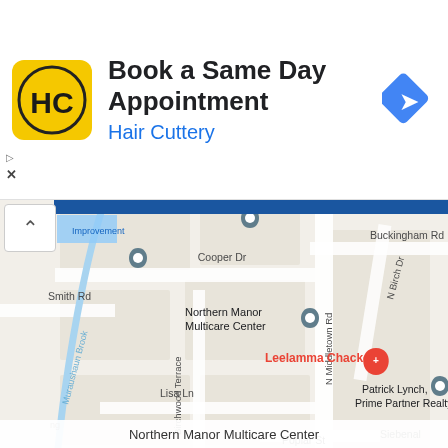[Figure (infographic): Advertisement banner for Hair Cuttery with logo, headline 'Book a Same Day Appointment', company name 'Hair Cuttery', navigation arrow icon, and ad disclosure markers]
[Figure (map): Google Maps screenshot showing a neighborhood map with streets including Smith Rd, Buckingham Rd, Cooper Dr, N Middletown Rd, Birchwood Terrace, Lisa Ln, Poplar St, N Birch Dr; landmarks including Northern Manor Multicare Center, Leelamma Chacko (red pin), Patrick Lynch Prime Partner Realty; water feature labeled Muraushaun Brook; map pins and location markers visible]
Northern Manor Multicare Center